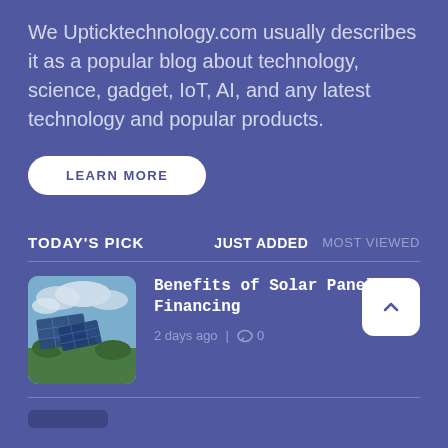We Upticktechnology.com usually describes it as a popular blog about technology, science, gadget, IoT, AI, and any latest technology and popular products.
LEARN MORE
TODAY'S PICK
JUST ADDED
MOST VIEWED
[Figure (photo): Solar panels in a green landscape with cloudy sky]
Benefits of Solar Panel Financing
2 days ago | 0